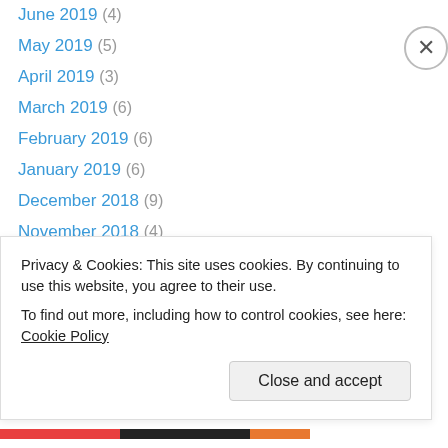June 2019 (4)
May 2019 (5)
April 2019 (3)
March 2019 (6)
February 2019 (6)
January 2019 (6)
December 2018 (9)
November 2018 (4)
October 2018 (2)
September 2018 (2)
August 2018 (2)
July 2018 (4)
June 2018 (4)
May 2018 (2)
Privacy & Cookies: This site uses cookies. By continuing to use this website, you agree to their use.
To find out more, including how to control cookies, see here: Cookie Policy
Close and accept